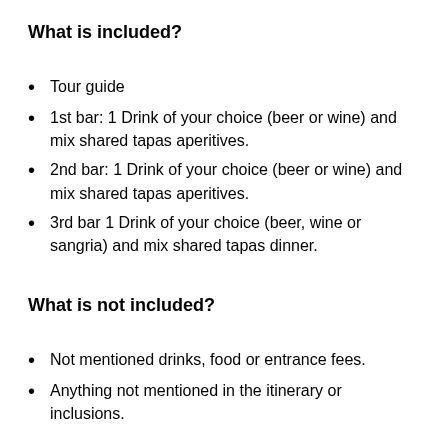What is included?
Tour guide
1st bar: 1 Drink of your choice (beer or wine) and mix shared tapas aperitives.
2nd bar: 1 Drink of your choice (beer or wine) and mix shared tapas aperitives.
3rd bar 1 Drink of your choice (beer, wine or sangria) and mix shared tapas dinner.
What is not included?
Not mentioned drinks, food or entrance fees.
Anything not mentioned in the itinerary or inclusions.